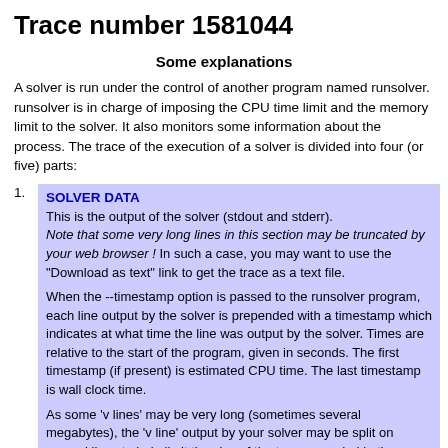Trace number 1581044
Some explanations
A solver is run under the control of another program named runsolver. runsolver is in charge of imposing the CPU time limit and the memory limit to the solver. It also monitors some information about the process. The trace of the execution of a solver is divided into four (or five) parts:
SOLVER DATA
This is the output of the solver (stdout and stderr).
Note that some very long lines in this section may be truncated by your web browser ! In such a case, you may want to use the "Download as text" link to get the trace as a text file.

When the --timestamp option is passed to the runsolver program, each line output by the solver is prepended with a timestamp which indicates at what time the line was output by the solver. Times are relative to the start of the program, given in seconds. The first timestamp (if present) is estimated CPU time. The last timestamp is wall clock time.

As some 'v lines' may be very long (sometimes several megabytes), the 'v line' output by your solver may be split on several lines to help limit the size of the trace recorded in the database. In any case, the exact output of your solver is preserved in a trace file.
VERIFIER DATA
The output of the solver is piped to a verifier program which will